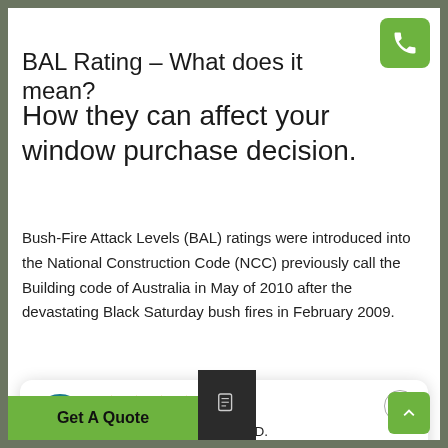BAL Rating – What does it mean?
How they can affect your window purchase decision.
Bush-Fire Attack Levels (BAL) ratings were introduced into the National Construction Code (NCC) previously call the Building code of Australia in May of 2010 after the devastating Black Saturday bush fires in February 2009.
[Figure (infographic): Review card showing 4.5 star rating by David D., dated 08/28/22, with user avatar and close button]
Double Glazed Windows.  Is is worthy of noting that the windows and doors are made from is self extinguishing and will only burn when a flame is